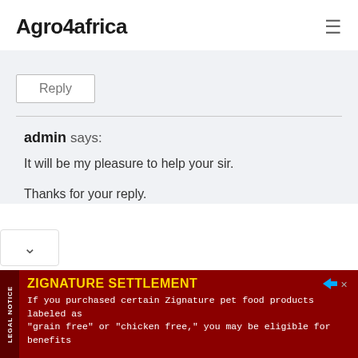Agro4africa
Reply
admin says:

It will be my pleasure to help your sir.

Thanks for your reply.
ZIGNATURE SETTLEMENT
If you purchased certain Zignature pet food products labeled as "grain free" or "chicken free," you may be eligible for benefits